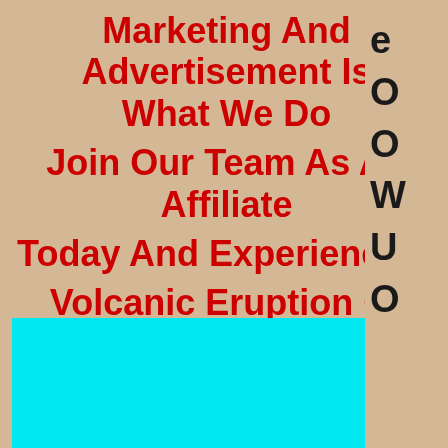Marketing And Advertisement Is What We Do Join Our Team As An Affiliate Today And Experience A Volcanic Eruption Of Income
[Figure (other): Navigation menu icon (hamburger menu) with grey background and three white horizontal lines]
Click Here
[Figure (other): Cyan/turquoise colored rectangle at the bottom of the page, likely an embedded video or image placeholder]